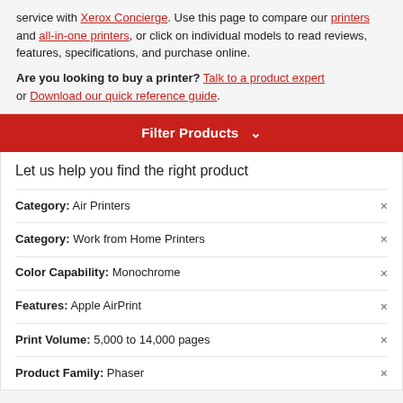service with Xerox Concierge. Use this page to compare our printers and all-in-one printers, or click on individual models to read reviews, features, specifications, and purchase online.
Are you looking to buy a printer? Talk to a product expert or Download our quick reference guide.
Filter Products
Let us help you find the right product
Category: Air Printers
Category: Work from Home Printers
Color Capability: Monochrome
Features: Apple AirPrint
Print Volume: 5,000 to 14,000 pages
Product Family: Phaser